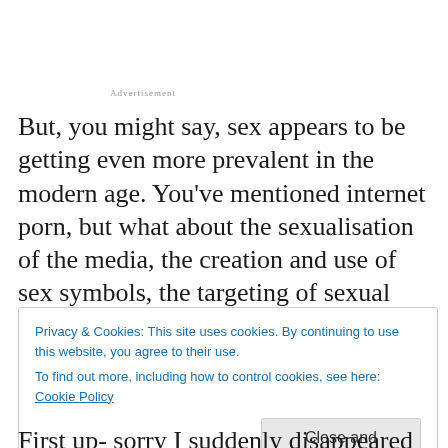Advertisement
But, you might say, sex appears to be getting even more prevalent in the modern age. You've mentioned internet porn, but what about the sexualisation of the media, the creation and use of sex symbols, the targeting of sexual content at a steadily younger audience? Good question, and one I'll give a shot at answering next time…
Privacy & Cookies: This site uses cookies. By continuing to use this website, you agree to their use.
To find out more, including how to control cookies, see here: Cookie Policy
Close and accept
First up- sorry I suddenly disappeared over last week. I